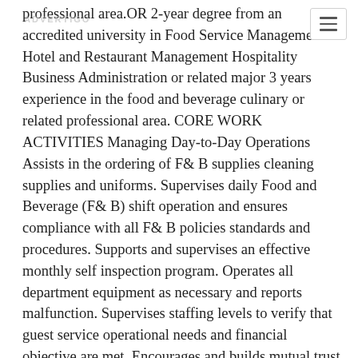professional area.OR 2-year degree from an accredited university in Food Service Management Hotel and Restaurant Management Hospitality Business Administration or related major 3 years experience in the food and beverage culinary or related professional area. CORE WORK ACTIVITIES Managing Day-to-Day Operations Assists in the ordering of F& B supplies cleaning supplies and uniforms. Supervises daily Food and Beverage (F& B) shift operation and ensures compliance with all F& B policies standards and procedures. Supports and supervises an effective monthly self inspection program. Operates all department equipment as necessary and reports malfunction. Supervises staffing levels to verify that guest service operational needs and financial objective are met. Encourages and builds mutual trust respect and cooperation among team members. Understands employee positions well enough to perform duties in employees absence. Develops specific goals and plans to prioritize organize and accomplish your work. Monitors and maintains the productivity level of